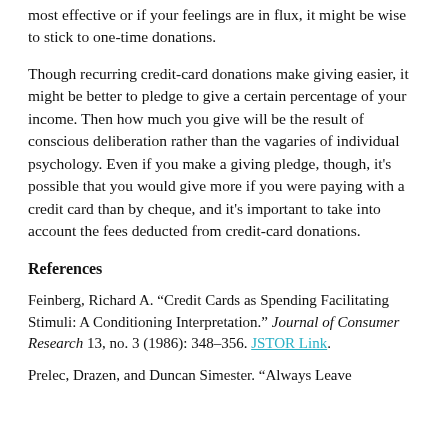most effective or if your feelings are in flux, it might be wise to stick to one-time donations.
Though recurring credit-card donations make giving easier, it might be better to pledge to give a certain percentage of your income. Then how much you give will be the result of conscious deliberation rather than the vagaries of individual psychology. Even if you make a giving pledge, though, it’s possible that you would give more if you were paying with a credit card than by cheque, and it’s important to take into account the fees deducted from credit-card donations.
References
Feinberg, Richard A. “Credit Cards as Spending Facilitating Stimuli: A Conditioning Interpretation.” Journal of Consumer Research 13, no. 3 (1986): 348–356. JSTOR Link.
Prelec, Drazen, and Duncan Simester. “Always Leave